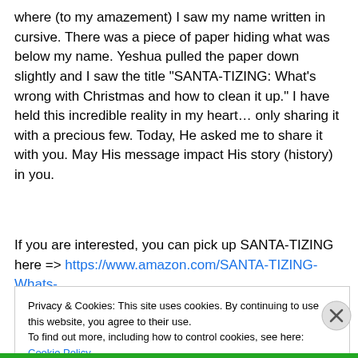where (to my amazement) I saw my name written in cursive. There was a piece of paper hiding what was below my name. Yeshua pulled the paper down slightly and I saw the title “SANTA-TIZING: What’s wrong with Christmas and how to clean it up.” I have held this incredible reality in my heart… only sharing it with a precious few. Today, He asked me to share it with you. May His message impact His story (history) in you.
If you are interested, you can pick up SANTA-TIZING here => https://www.amazon.com/SANTA-TIZING-Whats-
Privacy & Cookies: This site uses cookies. By continuing to use this website, you agree to their use.
To find out more, including how to control cookies, see here: Cookie Policy